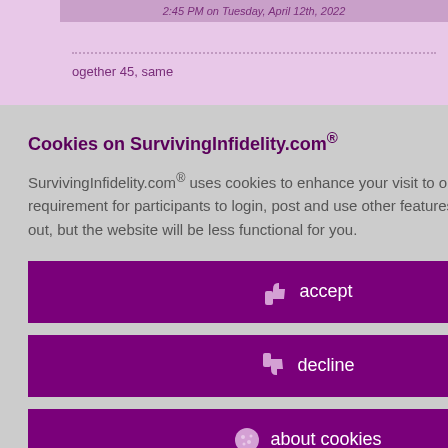2:45 PM on Tuesday, April 12th, 2022
together 45, same
s. You just have to
id 8729357
at
Cookies on SurvivingInfidelity.com®
SurvivingInfidelity.com® uses cookies to enhance your visit to our website. This is a requirement for participants to login, post and use other features. Visitors may opt out, but the website will be less functional for you.
accept
decline
about cookies
Policy